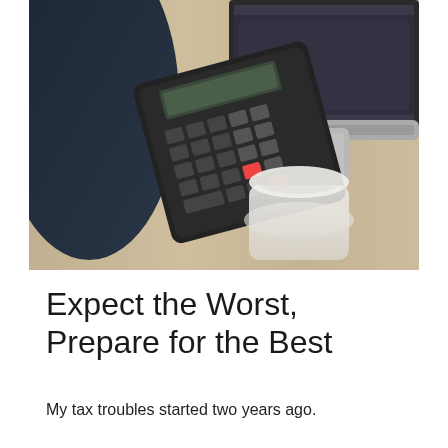[Figure (photo): Overhead view of a desk with a black calculator, an open laptop, a white coffee mug, and a black leather jacket, on a light wood surface.]
Expect the Worst, Prepare for the Best
My tax troubles started two years ago.